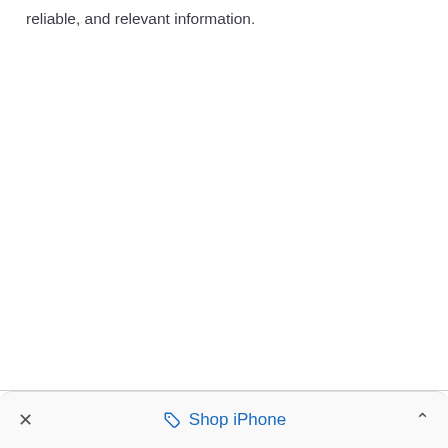reliable, and relevant information.
✕   🏷 Shop iPhone   ∧